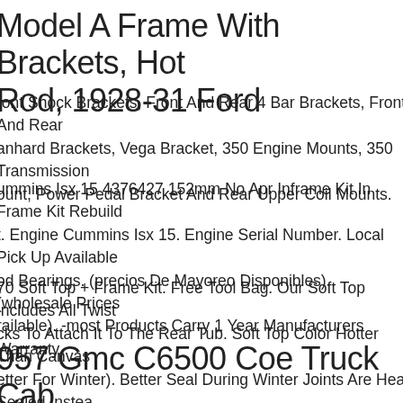Model A Frame With Brackets, Hot Rod, 1928-31 Ford
Front Shock Brackets, Front And Rear 4 Bar Brackets, Front And Rear Panhard Brackets, Vega Bracket, 350 Engine Mounts, 350 Transmission Mount, Power Pedal Bracket And Rear Upper Coil Mounts.
Cummins Isx 15 4376427 152mm No Apr Inframe Kit In Frame Kit Rebuild Kit. Engine Cummins Isx 15. Engine Serial Number. Local Pick Up Available. Rod Bearings. (precios De Mayoreo Disponibles). (wholesale Prices Available). -most Products Carry 1 Year Manufacturers Warranty.
CJ70 Soft Top + Frame Kit. Free Tool Bag. Our Soft Top Includes All Twist Locks To Attach It To The Rear Tub. Soft Top Color Hotter Than Canvas (Better For Winter). Better Seal During Winter Joints Are Heat Sealed Instead Of Stitched. More Resistant To Sharp Edges.
1957 Gmc C6500 Coe Truck Cab And Frame